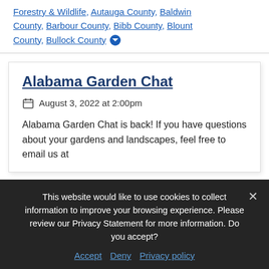Forestry & Wildlife, Autauga County, Baldwin County, Barbour County, Bibb County, Blount County, Bullock County
Alabama Garden Chat
August 3, 2022 at 2:00pm
Alabama Garden Chat is back! If you have questions about your gardens and landscapes, feel free to email us at
This website would like to use cookies to collect information to improve your browsing experience. Please review our Privacy Statement for more information. Do you accept?
Accept  Deny  Privacy policy